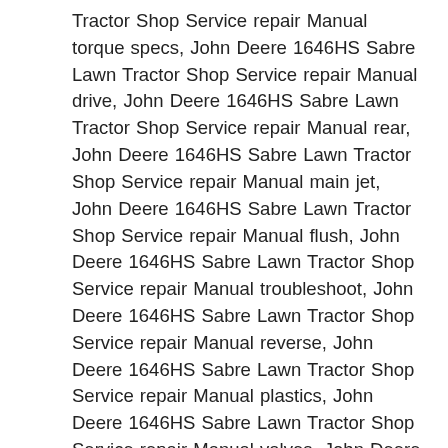Tractor Shop Service repair Manual torque specs, John Deere 1646HS Sabre Lawn Tractor Shop Service repair Manual drive, John Deere 1646HS Sabre Lawn Tractor Shop Service repair Manual rear, John Deere 1646HS Sabre Lawn Tractor Shop Service repair Manual main jet, John Deere 1646HS Sabre Lawn Tractor Shop Service repair Manual flush, John Deere 1646HS Sabre Lawn Tractor Shop Service repair Manual troubleshoot, John Deere 1646HS Sabre Lawn Tractor Shop Service repair Manual reverse, John Deere 1646HS Sabre Lawn Tractor Shop Service repair Manual plastics, John Deere 1646HS Sabre Lawn Tractor Shop Service repair Manual valves, John Deere 1646HS Sabre Lawn Tractor Shop Service repair Manual trees, John Deere 1646HS Sabre Lawn Tractor Shop Service repair Manual pump, John Deere 1646HS Sabre Lawn Tractor Shop Service repair Manual connecting rod, John Deere 1646HS Sabre Lawn